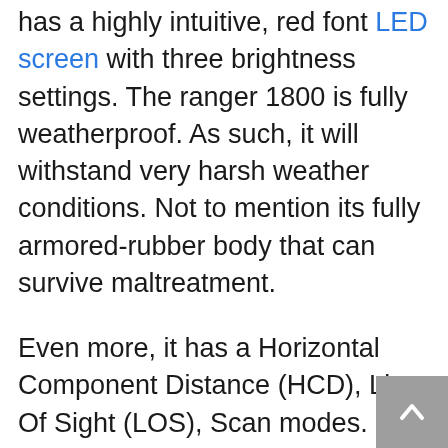has a highly intuitive, red font LED screen with three brightness settings. The ranger 1800 is fully weatherproof. As such, it will withstand very harsh weather conditions. Not to mention its fully armored-rubber body that can survive maltreatment.
Even more, it has a Horizontal Component Distance (HCD), Line Of Sight (LOS), Scan modes. Specifically, the HCD mode is for angle and distance compensation. That is, it provides accurate distances from elevated positions for precise shooting.
Lastly, the Vortex Ranger 1800 is an excellent gear, suitable for both bow and rifle hunting. There is no downside we found with this rangefinder except that it looks